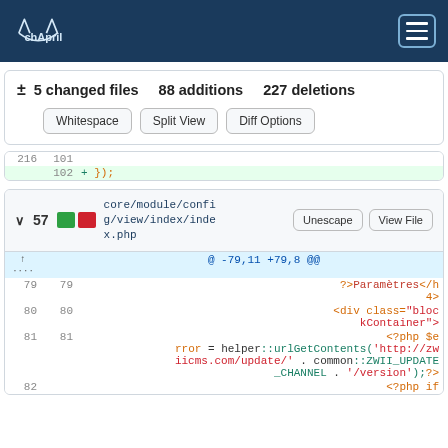chApril
± 5 changed files 88 additions 227 deletions
Whitespace  Split View  Diff Options
| old-ln | new-ln | code |
| --- | --- | --- |
| 216 | 101 |  |
|  | 102 | + }); |
∨ 57  core/module/config/view/index/index.php  Unescape  View File
| old-ln | new-ln | code |
| --- | --- | --- |
| ↑ ... |  | @ -79,11 +79,8 @@ |
| 79 | 79 | ?>Paramètres</h4> |
| 80 | 80 | <div class="blockContainer"> |
| 81 | 81 | <?php $error = helper::urlGetContents('http://zwiicms.com/update/' . common::ZWII_UPDATE_CHANNEL . '/version');?> |
| 82 |  | <?php if |